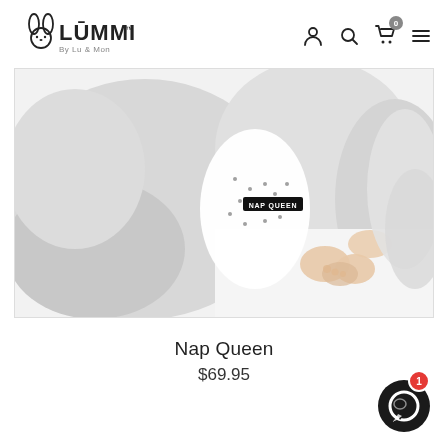LÜMMI By Lu & Mon — navigation header with logo and icons
[Figure (photo): Overhead photo of a sleeping baby wrapped in a light grey knit blanket, wearing a white polka-dot outfit with a black 'NAP QUEEN' label]
Nap Queen
$69.95